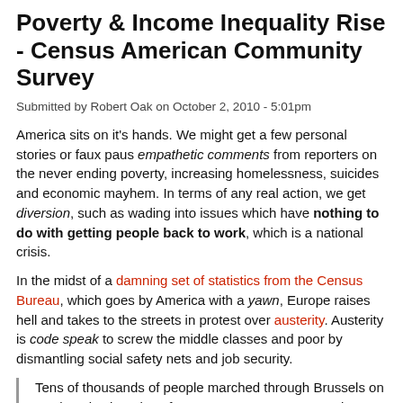Poverty & Income Inequality Rise - Census American Community Survey
Submitted by Robert Oak on October 2, 2010 - 5:01pm
America sits on it's hands. We might get a few personal stories or faux paus empathetic comments from reporters on the never ending poverty, increasing homelessness, suicides and economic mayhem. In terms of any real action, we get diversion, such as wading into issues which have nothing to do with getting people back to work, which is a national crisis.
In the midst of a damning set of statistics from the Census Bureau, which goes by America with a yawn, Europe raises hell and takes to the streets in protest over austerity. Austerity is code speak to screw the middle classes and poor by dismantling social safety nets and job security.
Tens of thousands of people marched through Brussels on Wednesday in a day of protests across Europe against government austerity measures, which unions say will slow economic recovery and punish the poor.